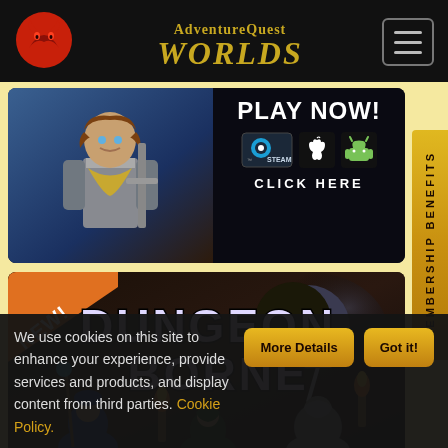[Figure (screenshot): AdventureQuest Worlds navigation bar with logo, dragon icon, and hamburger menu button on black background]
[Figure (screenshot): Play Now banner with game character and Steam, Apple, Android platform icons with CLICK HERE text]
[Figure (screenshot): Dungeon Borne game banner with NEW! ribbon, game title, and fantasy game characters]
[Figure (screenshot): Membership Benefits side tab in gold]
We use cookies on this site to enhance your experience, provide services and products, and display content from third parties. Cookie Policy.